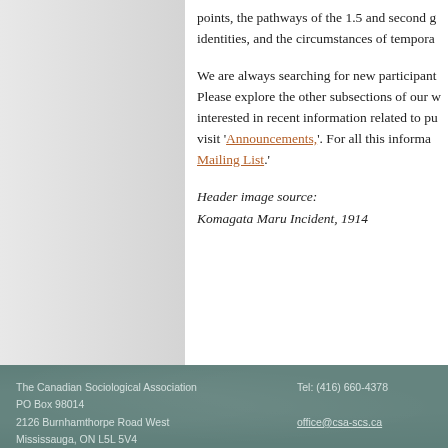points, the pathways of the 1.5 and second generation, negotiating hybrid identities, and the circumstances of tempora...
We are always searching for new participants! Please explore the other subsections of our website. If you are interested in recent information related to publications, visit 'Announcements,'. For all this information... Mailing List.'
Header image source:
Komagata Maru Incident, 1914
The Canadian Sociological Association
PO Box 98014
2126 Burnhamthorpe Road West
Mississauga, ON L5L 5V4

Tel: (416) 660-4378
office@csa-scs.ca